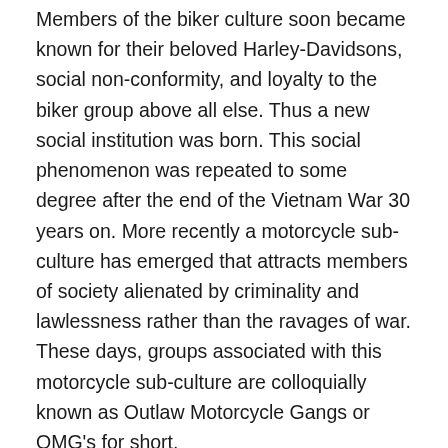Members of the biker culture soon became known for their beloved Harley-Davidsons, social non-conformity, and loyalty to the biker group above all else. Thus a new social institution was born. This social phenomenon was repeated to some degree after the end of the Vietnam War 30 years on. More recently a motorcycle sub-culture has emerged that attracts members of society alienated by criminality and lawlessness rather than the ravages of war. These days, groups associated with this motorcycle sub-culture are colloquially known as Outlaw Motorcycle Gangs or OMG's for short.
Typically these biker sub-cultures are headed by a small core group of individuals who ultimately derive all the financial prosperity from the organisation's criminal enterprises at little personal risk. In contrast, the rank and file members receive little in the way of financial benefits while accepting all the related risks from being associated with an unlawful sub-culture. The rank and file appear happy to be linked to the